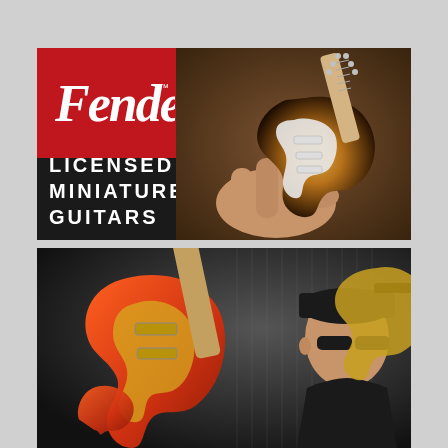[Figure (photo): Fender licensed miniature guitars advertisement. Top banner: red Fender logo box on black background with white script 'Fender' text and trademark symbol, text 'LICENSED MINIATURE GUITARS' in white capitals on black background, and a hand holding a miniature Fender Stratocaster sunburst electric guitar.]
[Figure (photo): Bottom photo of a man wearing black cap and sunglasses holding multiple miniature orange/red electric guitars in a display setting.]